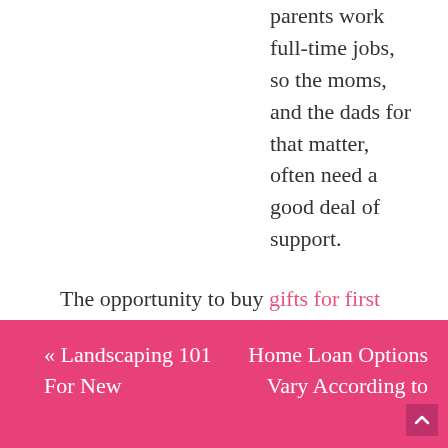parents work full-time jobs, so the moms, and the dads for that matter, often need a good deal of support.
The opportunity to buy gifts for first time mothers is a special chance to make sure that you let the new parents know that you are ready to provide the support they will need to be the very best parents.
« Landscaping 101 For New | Home Loan Options Vary According to